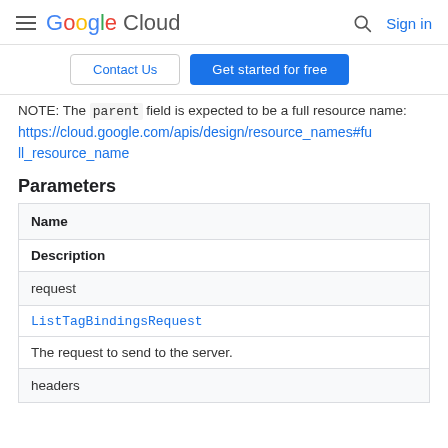Google Cloud | Sign in
NOTE: The `parent` field is expected to be a full resource name: https://cloud.google.com/apis/design/resource_names#full_resource_name
Parameters
| Name | Description |
| --- | --- |
| request | ListTagBindingsRequest
The request to send to the server. |
| headers |  |